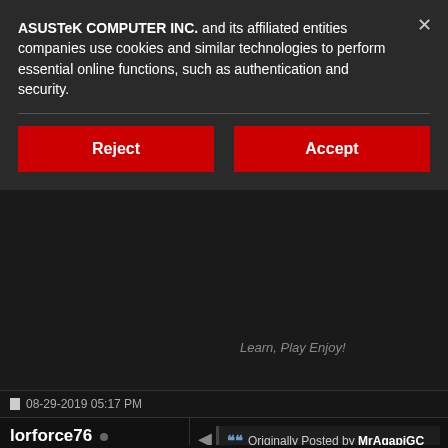ASUSTeK COMPUTER INC. and its affiliated entities companies use cookies and similar technologies to perform essential online functions, such as authentication and security.
Reject
Accept
Learn, Play Enjoy!
08-29-2019 05:17 PM
lorforce76 •
New ROGer
Join Date: Nov 2018
Reputation: 10
Posts: 3
Originally Posted by MrAgapiGC
Saludos. Trata de usar ingles aqui. menos guarte. Puedes conseguirm soy directo. Si Tu cpu no es K no p activar XMP. El gpu tweak es un bu OC en mis GPU. solo hago perque. nota que las memroias deben ser este bien y estable. Asegurate que drivers (mei y chipset) y listo se re apuntandoa los vrm yua que se va tener disipador